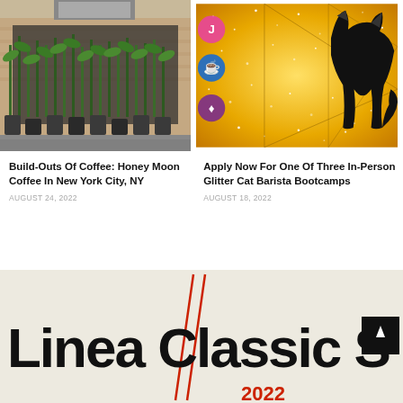[Figure (photo): Exterior of a coffee shop with large green bamboo plants in pots in front of a brick building facade]
[Figure (photo): Gold glitter background with geometric triangle lines and a black cat silhouette, with colorful circular signs on the left side]
Build-Outs Of Coffee: Honey Moon Coffee In New York City, NY
AUGUST 24, 2022
Apply Now For One Of Three In-Person Glitter Cat Barista Bootcamps
AUGUST 18, 2022
[Figure (illustration): Promotional banner with beige/cream background, bold black text reading 'Linea Classic S' with red diagonal lines cutting through, and red year text '2022' at bottom right. A dark scroll-to-top button is visible on the right.]